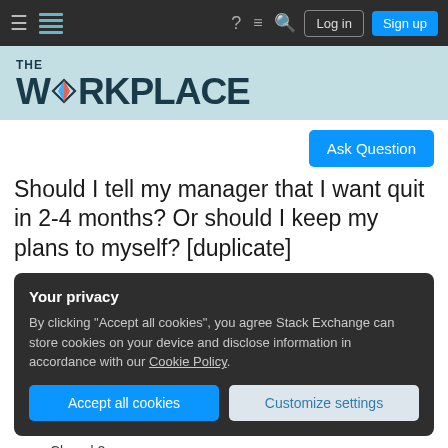The Workplace – Stack Exchange | Navigation bar with Log in and Sign up buttons
[Figure (logo): The Workplace Stack Exchange logo — 'THE WORKPLACE' in dark teal bold font on a light teal background]
Ask Question
Should I tell my manager that I want quit in 2-4 months? Or should I keep my plans to myself? [duplicate]
Your privacy
By clicking "Accept all cookies", you agree Stack Exchange can store cookies on your device and disclose information in accordance with our Cookie Policy.
Accept all cookies   Customize settings
Closed 2 years ago.